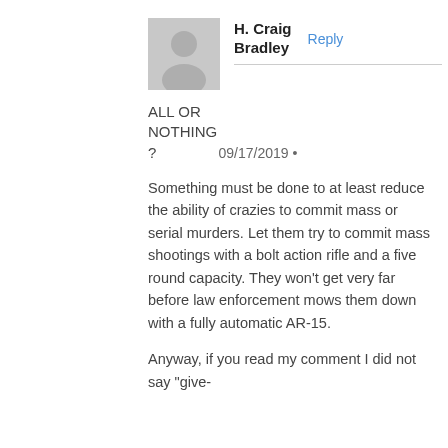[Figure (photo): Gray default avatar silhouette icon]
H. Craig Bradley
Reply
ALL OR NOTHING ?   09/17/2019 •
Something must be done to at least reduce the ability of crazies to commit mass or serial murders. Let them try to commit mass shootings with a bolt action rifle and a five round capacity. They won't get very far before law enforcement mows them down with a fully automatic AR-15.
Anyway, if you read my comment I did not say "give-